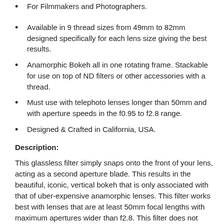For Filmmakers and Photographers.
Available in 9 thread sizes from 49mm to 82mm designed specifically for each lens size giving the best results.
Anamorphic Bokeh all in one rotating frame. Stackable for use on top of ND filters or other accessories with a thread.
Must use with telephoto lenses longer than 50mm and with aperture speeds in the f0.95 to f2.8 range.
Designed & Crafted in California, USA.
Description:
This glassless filter simply snaps onto the front of your lens, acting as a second aperture blade. This results in the beautiful, iconic, vertical bokeh that is only associated with that of uber-expensive anamorphic lenses. This filter works best with lenses that are at least 50mm focal lengths with maximum apertures wider than f2.8. This filter does not include the flare/streak element.